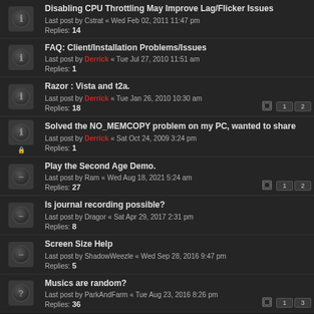Disabling CPU Throttling May Improve Lag/Flicker Issues
Last post by Cstrat « Wed Feb 02, 2011 11:47 pm
Replies: 14
FAQ: Client/Installation Problems/Issues
Last post by Derrick « Tue Jul 27, 2010 11:51 am
Replies: 1
Razor : Vista and t2a.
Last post by Derrick « Tue Jan 26, 2010 10:30 am
Replies: 18
Solved the NO_MEMCOPY problem on my PC, wanted to share
Last post by Derrick « Sat Oct 24, 2009 3:24 pm
Replies: 1
Play the Second Age Demo.
Last post by Ram « Wed Aug 18, 2021 5:24 am
Replies: 27
Is journal recording possible?
Last post by Dragor « Sat Apr 29, 2017 2:31 pm
Replies: 8
Screen Size Help
Last post by ShadowWeezle « Wed Sep 28, 2016 9:47 pm
Replies: 5
Musics are random?
Last post by ParkAndFarm « Tue Aug 23, 2016 8:26 pm
Replies: 36